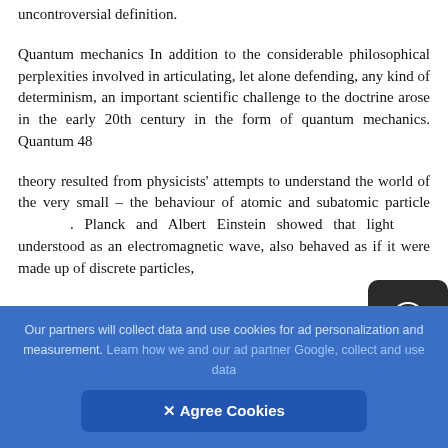uncontroversial definition.
Quantum mechanics In addition to the considerable philosophical perplexities involved in articulating, let alone defending, any kind of determinism, an important scientific challenge to the doctrine arose in the early 20th century in the form of quantum mechanics. Quantum 48
theory resulted from physicists' attempts to understand the world of the very small – the behaviour of atomic and subatomic particle. Planck and Albert Einstein showed that light, understood as an electromagnetic wave, also behaved as if it were made up of discrete particles,
Our partners will collect data and use cookies for ad personalization and measurement. Learn how we and our ad partner Google, collect and use data